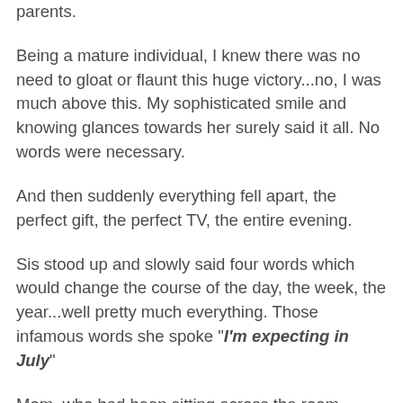parents.
Being a mature individual, I knew there was no need to gloat or flaunt this huge victory...no, I was much above this. My sophisticated smile and knowing glances towards her surely said it all. No words were necessary.
And then suddenly everything fell apart, the perfect gift, the perfect TV, the entire evening.
Sis stood up and slowly said four words which would change the course of the day, the week, the year...well pretty much everything. Those infamous words she spoke "I'm expecting in July"
Mom, who had been sitting across the room appeared to jump up & sprint, in Olympic record fashion, and was suddenly hugging Sis, muttering..."Oh my dear, what a blessing."
Dad who we all thought was completely & totally hypnotized by his new television was immediately right in there like a